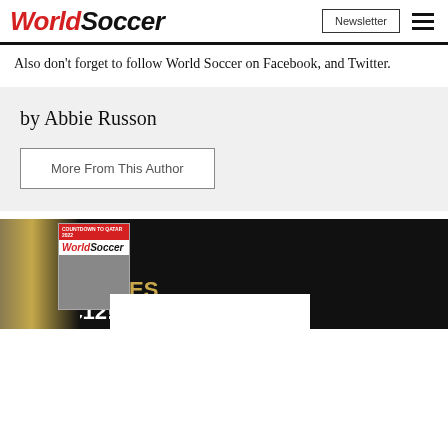WorldSoccer | Newsletter
Also don't forget to follow World Soccer on Facebook, and Twitter.
by Abbie Russon
More From This Author
[Figure (infographic): World Soccer magazine promotion banner showing a World Cup trophy, a magazine cover with 'Countdown to Qatar 2022' and 'GET 6 ISSUES' offer text in gold on black background]